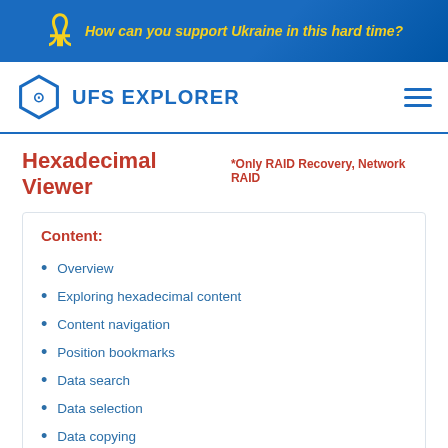How can you support Ukraine in this hard time?
[Figure (logo): UFS Explorer logo with hexagonal icon and text 'UFS EXPLORER']
Hexadecimal Viewer *Only RAID Recovery, Network RAID
Content:
Overview
Exploring hexadecimal content
Content navigation
Position bookmarks
Data search
Data selection
Data copying
Data saving